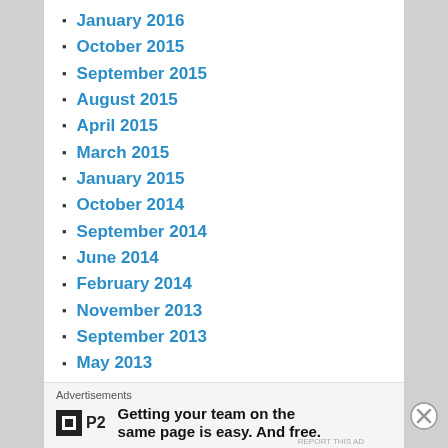January 2016
October 2015
September 2015
August 2015
April 2015
March 2015
January 2015
October 2014
September 2014
June 2014
February 2014
November 2013
September 2013
May 2013
April 2013
March 2013
February 2013
Advertisements
Getting your team on the same page is easy. And free.